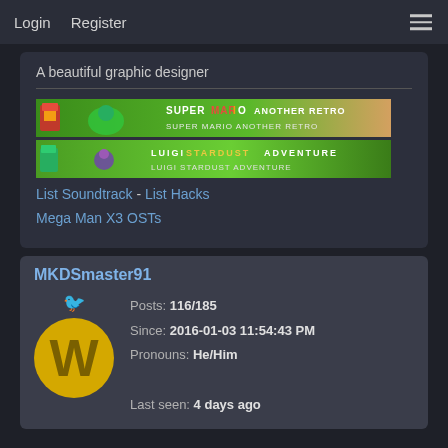Login  Register
A beautiful graphic designer
[Figure (screenshot): Two game banner images: 'Super Mario Another Retro' and 'Luigi Stardust Adventure' pixel art banners]
List Soundtrack - List Hacks
Mega Man X3 OSTs
MKDSmaster91
Posts: 116/185
Since: 2016-01-03 11:54:43 PM
Pronouns: He/Him
Last seen: 4 days ago